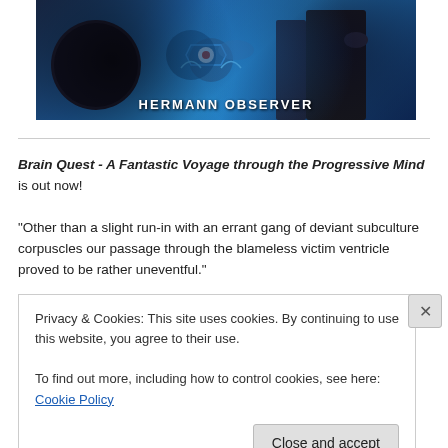[Figure (photo): Banner image with blue sci-fi theme showing robots/mechanical creatures and characters, with text 'HERMANN OBSERVER' overlaid in white bold letters]
Brain Quest - A Fantastic Voyage through the Progressive Mind is out now!
"Other than a slight run-in with an errant gang of deviant subculture corpuscles our passage through the blameless victim ventricle proved to be rather uneventful."
Privacy & Cookies: This site uses cookies. By continuing to use this website, you agree to their use.
To find out more, including how to control cookies, see here: Cookie Policy
Close and accept